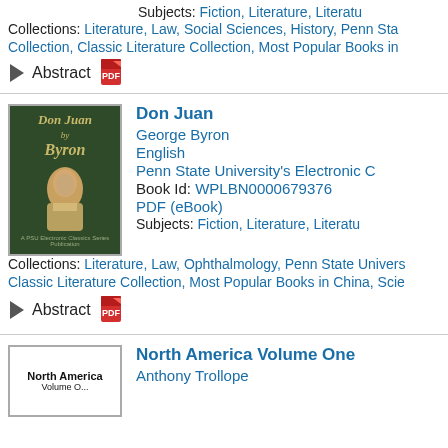Subjects: Fiction, Literature, Literatu...
Collections: Literature, Law, Social Sciences, History, Penn Sta... Collection, Classic Literature Collection, Most Popular Books in...
▶ Abstract [PDF icon]
[Figure (illustration): Book cover of Don Juan by Byron, dark green background with portrait of Byron and gold text]
Don Juan
George Byron
English
Penn State University's Electronic C...
Book Id: WPLBN0000679376
PDF (eBook)
Subjects: Fiction, Literature, Literatu...
Collections: Literature, Law, Ophthalmology, Penn State Univers... Classic Literature Collection, Most Popular Books in China, Scie...
▶ Abstract [PDF icon]
[Figure (illustration): Book cover of North America Volume One, white with bold text]
North America Volume One
Anthony Trollope